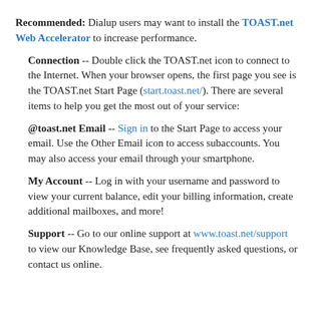Recommended: Dialup users may want to install the TOAST.net Web Accelerator to increase performance.
Connection -- Double click the TOAST.net icon to connect to the Internet. When your browser opens, the first page you see is the TOAST.net Start Page (start.toast.net/). There are several items to help you get the most out of your service:
@toast.net Email -- Sign in to the Start Page to access your email. Use the Other Email icon to access subaccounts. You may also access your email through your smartphone.
My Account -- Log in with your username and password to view your current balance, edit your billing information, create additional mailboxes, and more!
Support -- Go to our online support at www.toast.net/support to view our Knowledge Base, see frequently asked questions, or contact us online.